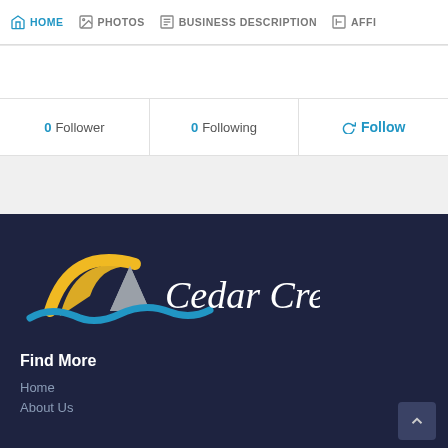HOME  PHOTOS  BUSINESS DESCRIPTION  AFFI...
0 Follower
0 Following
Follow
[Figure (logo): Cedar Creek Lake logo with sailboat, sun, and wave graphics in gold, gray, and blue on dark navy background]
Find More
Home
About Us